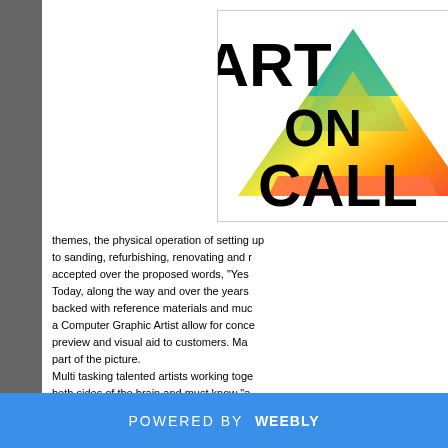[Figure (logo): Art On Call registered trademark logo with colorful triangle and bold black text]
themes, the physical operation of setting up to sanding, refurbishing, renovating and r accepted over the proposed words, "Yes Today, along the way and over the years backed with reference materials and muc a Computer Graphic Artist allow for conce preview and visual aid to customers.  Ma part of the picture.
Multi tasking talented artists working toge both sides of the brain and must know "a a requirement.  We always hope for the b Art o
POWERED BY weebly